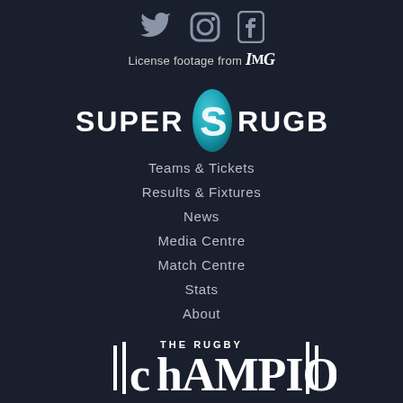[Figure (illustration): Social media icons: Twitter bird, Instagram camera, Facebook F — white/grey on dark background]
License footage from IMG
[Figure (logo): Super Rugby logo with teal S emblem between SUPER and RUGBY text in white bold caps]
Teams & Tickets
Results & Fixtures
News
Media Centre
Match Centre
Stats
About
[Figure (logo): The Rugby Championship logo with stylized championship text and vertical bar decorations]
Teams & Players